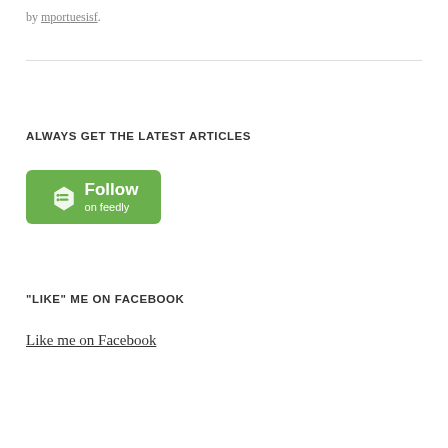by mportuesisf.
ALWAYS GET THE LATEST ARTICLES
[Figure (other): Follow on Feedly button — green rounded rectangle with Feedly logo icon and text 'Follow on feedly']
"LIKE" ME ON FACEBOOK
Like me on Facebook